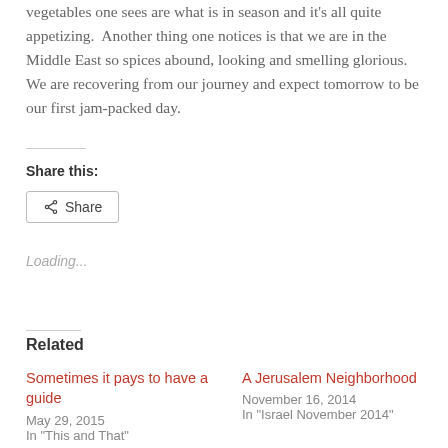vegetables one sees are what is in season and it's all quite appetizing.  Another thing one notices is that we are in the Middle East so spices abound, looking and smelling glorious.  We are recovering from our journey and expect tomorrow to be our first jam-packed day.
Share this:
[Figure (other): Share button with share icon]
Loading...
Related
Sometimes it pays to have a guide
May 29, 2015
In "This and That"
A Jerusalem Neighborhood
November 16, 2014
In "Israel November 2014"